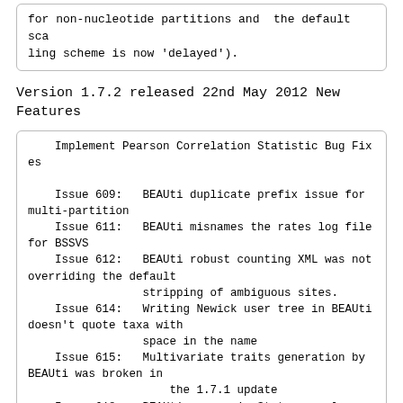for non-nucleotide partitions and  the default scaling scheme is now 'delayed').
Version 1.7.2 released 22nd May 2012 New Features
Implement Pearson Correlation Statistic Bug Fixes
Issue 609:   BEAUti duplicate prefix issue for multi-partition
Issue 611:   BEAUti misnames the rates log file for BSSVS
Issue 612:   BEAUti robust counting XML was not overriding the default
                stripping of ambiguous sites.
Issue 614:   Writing Newick user tree in BEAUti doesn't quote taxa with
                space in the name
Issue 615:   Multivariate traits generation by BEAUti was broken in
                        the 1.7.1 update
Issue 618:   BEAUti errors in States panel